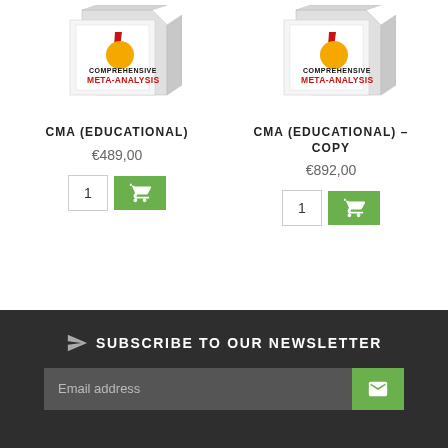[Figure (photo): Comprehensive Meta-Analysis software box product image for CMA (Educational)]
CMA (EDUCATIONAL)
€489,00
[Figure (photo): Comprehensive Meta-Analysis software box product image for CMA (Educational) – Copy]
CMA (EDUCATIONAL) – COPY
€892,00
SUBSCRIBE TO OUR NEWSLETTER
Email address